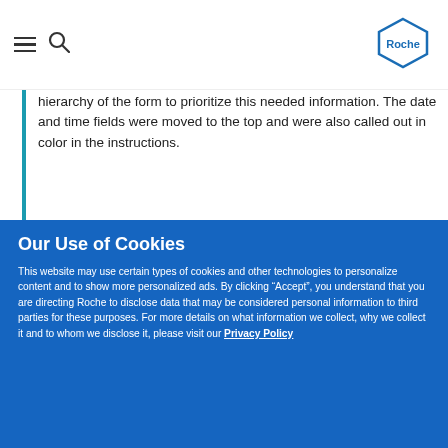Roche website navigation header
hierarchy of the form to prioritize this needed information. The date and time fields were moved to the top and were also called out in color in the instructions.
[Figure (screenshot): Partially visible screenshot of a document or form, showing italic text beginning with 'Following this...']
Our Use of Cookies
This website may use certain types of cookies and other technologies to personalize content and to show more personalized ads. By clicking “Accept”, you understand that you are directing Roche to disclose data that may be considered personal information to third parties for these purposes. For more details on what information we collect, why we collect it and to whom we disclose it, please visit our Privacy Policy